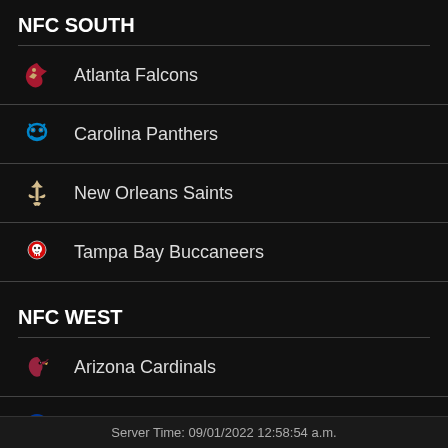NFC SOUTH
Atlanta Falcons
Carolina Panthers
New Orleans Saints
Tampa Bay Buccaneers
NFC WEST
Arizona Cardinals
Los Angeles Rams
Server Time: 09/01/2022 12:58:54 a.m.